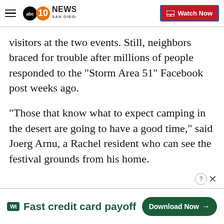10 NEWS SAN DIEGO | Watch Now
visitors at the two events. Still, neighbors braced for trouble after millions of people responded to the "Storm Area 51" Facebook post weeks ago.
"Those that know what to expect camping in the desert are going to have a good time," said Joerg Arnu, a Rachel resident who can see the festival grounds from his home.
Those who show up in shorts and flip-flops will fi...
[Figure (screenshot): Tally app advertisement banner at bottom: 'Fast credit card payoff' with 'Download Now' button]